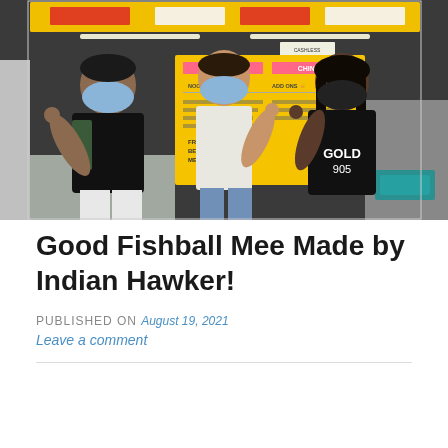[Figure (photo): Three people wearing face masks standing in front of a hawker food stall with yellow menu boards. The person on the left wears a black t-shirt, the middle person wears a white tank top with a yellow headband, and the person on the right wears a black shirt that reads 'GOLD 905'. All three are giving thumbs up.]
Good Fishball Mee Made by Indian Hawker!
PUBLISHED ON August 19, 2021
Leave a comment